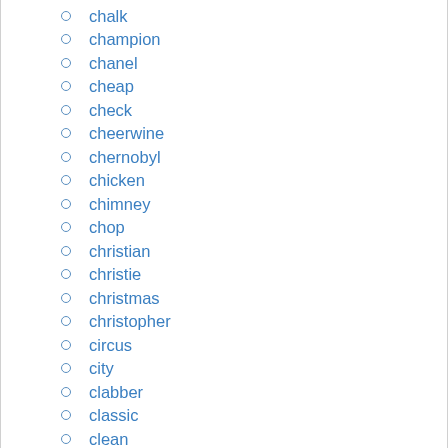chalk
champion
chanel
cheap
check
cheerwine
chernobyl
chicken
chimney
chop
christian
christie
christmas
christopher
circus
city
clabber
classic
clean